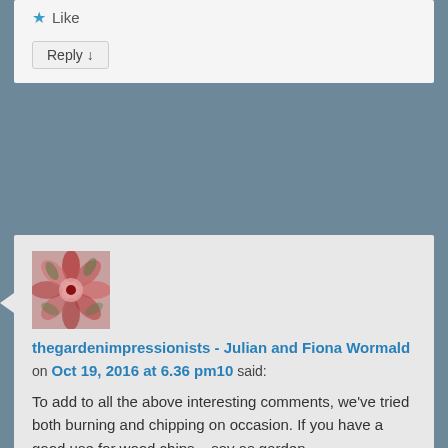Like
Reply ↓
[Figure (photo): Floral kaleidoscope avatar image with red and pink petal patterns and green leaf accents on a pink-red background]
thegardenimpressionists - Julian and Fiona Wormald on Oct 19, 2016 at 6.36 pm10 said:
To add to all the above interesting comments, we've tried both burning and chipping on occasion. If you have a good use for wood chips – say as garden